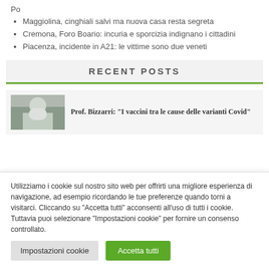Po
Maggiolina, cinghiali salvi ma nuova casa resta segreta
Cremona, Foro Boario: incuria e sporcizia indignano i cittadini
Piacenza, incidente in A21: le vittime sono due veneti
RECENT POSTS
[Figure (photo): Thumbnail image of a person, likely medical context]
Prof. Bizzarri: “I vaccini tra le cause delle varianti Covid”
Utilizziamo i cookie sul nostro sito web per offrirti una migliore esperienza di navigazione, ad esempio ricordando le tue preferenze quando torni a visitarci. Cliccando su "Accetta tutti" acconsenti all'uso di tutti i cookie. Tuttavia puoi selezionare "Impostazioni cookie" per fornire un consenso controllato.
Impostazioni cookie
Accetta tutti